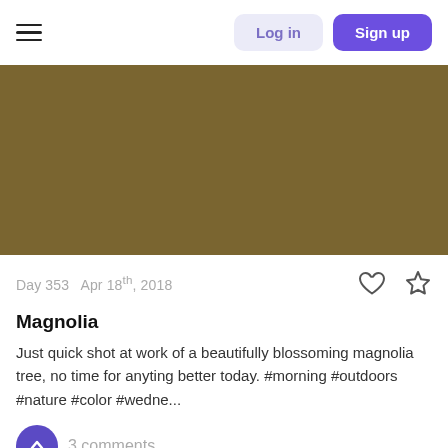Log in  Sign up
[Figure (photo): Olive/khaki colored rectangular image placeholder representing a photo of a magnolia tree]
Day 353  Apr 18th, 2018
Magnolia
Just quick shot at work of a beautifully blossoming magnolia tree, no time for anyting better today. #morning #outdoors #nature #color #wedne...
3 comments